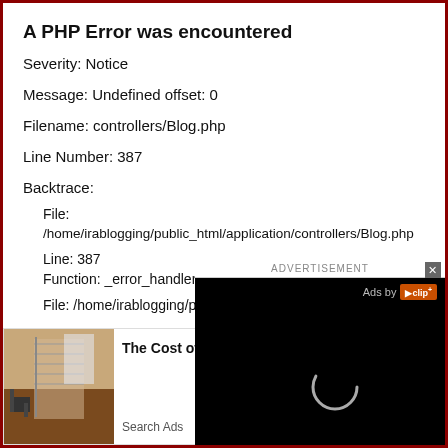A PHP Error was encountered
Severity: Notice
Message: Undefined offset: 0
Filename: controllers/Blog.php
Line Number: 387
Backtrace:
File:
/home/irablogging/public_html/application/controllers/Blog.php
Line: 387
Function: _error_handler
File: /home/irablogging/pub
[Figure (screenshot): Advertisement overlay with black background showing 'Ads by' with iclip logo and a loading spinner circle]
[Figure (screenshot): Bottom-left ad widget showing a staircase photo with text 'The Cost of' and 'Search Ads']